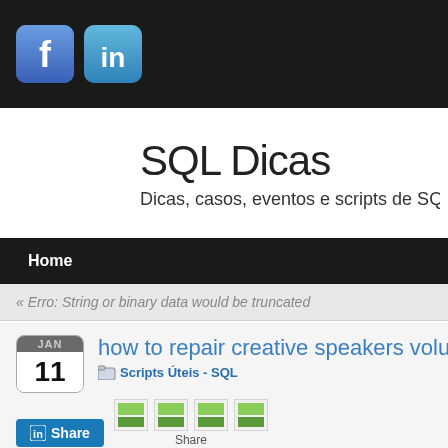[Figure (logo): Facebook and LinkedIn social media icon buttons in dark header bar]
SQL Dicas
Dicas, casos, eventos e scripts de SQL Se
Home
« Erro: String or binary data would be truncated
how to repair creative speakers volume
Scripts Úteis - SQL
[Figure (screenshot): LinkedIn Share button and small share icon buttons]
Fix 7 Run Troubleshooter If your problem remains unsolved, follow these ste